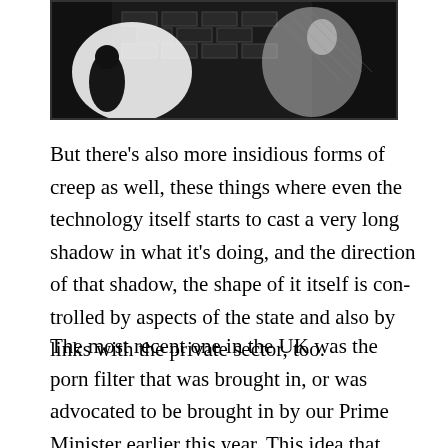[Figure (photo): Black and white high-contrast photograph showing two figures near a brick wall]
But there’s also more insidious forms of creep as well, these things where even the technology itself starts to cast a very long shadow in what it’s doing, and the direction of that shadow, the shape of it itself is controlled by aspects of the state and also by links with the private sector, too.
The most recent one in the UK was the porn filter that was brought in, or was advocated to be brought in by our Prime Minister earlier this year. This idea that there would be this opt-in that came from ISPs, that if you